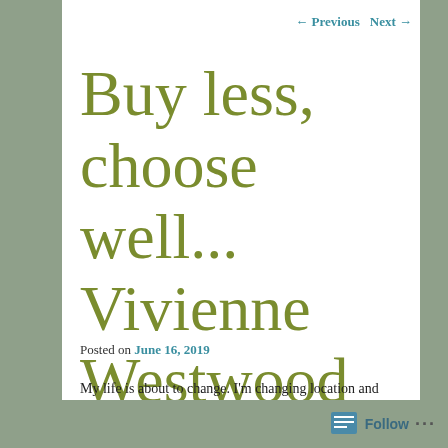← Previous   Next →
Buy less, choose well... Vivienne Westwood
Posted on June 16, 2019
My life is about to change. I'm changing location and vocation, so this is a superb time to start transitioning my wardrobe. I have purged my existing